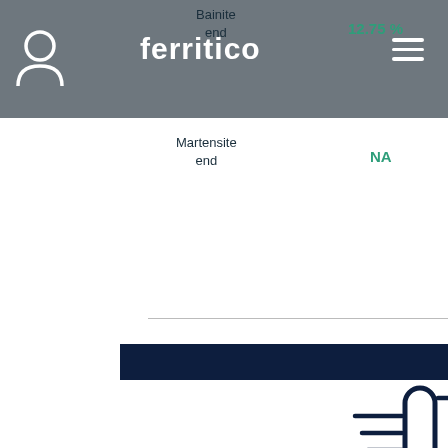ferritico app header with user icon and hamburger menu
Bainite end
12.75 %
12.43 %
Martensite end
NA
NA
[Figure (other): Thermometer icon - stylized thermometer with horizontal lines indicating temperature scale, in dark navy blue]